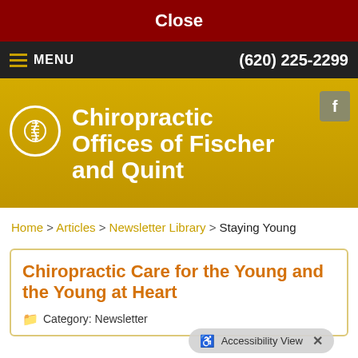Close
≡ MENU   (620) 225-2299
Chiropractic Offices of Fischer and Quint
Home > Articles > Newsletter Library > Staying Young
Chiropractic Care for the Young and the Young at Heart
Category: Newsletter Library / Staying Young